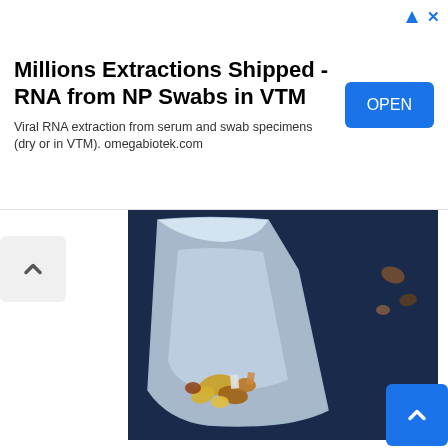[Figure (other): Advertisement banner: Millions Extractions Shipped - RNA from NP Swabs in VTM. Viral RNA extraction from serum and swab specimens (dry or in VTM). omegabiotek.com. Blue OPEN button on right.]
[Figure (photo): A clear plastic zip-lock bag containing small amber/yellow plant tissue pieces, placed on a dark blue surface. Additional small plant fragments visible outside the bag.]
Extract sample
Rub a blunt object ( i. pen or marker ) across the mesh until the plant weave is macerated